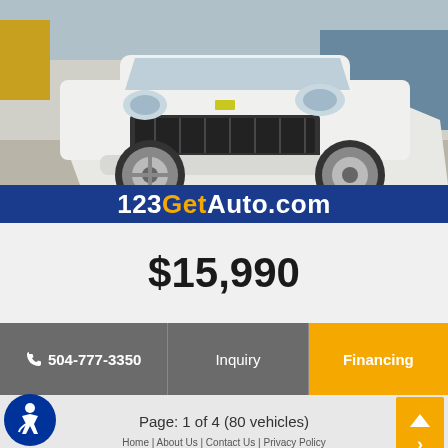[Figure (photo): White Chevrolet SUV (Tahoe) photographed from front-left angle in a parking area. Large custom wheels visible. Daytime outdoor setting.]
123GetAuto.com
$15,990
📞 504-777-3350   Inquiry   Financing
Page: 1 of 4 (80 vehicles)
Home | About Us | Contact Us | Privacy Policy